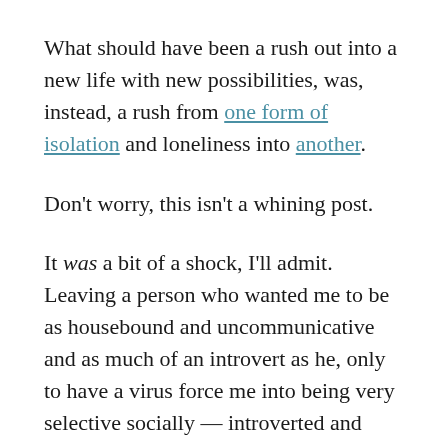What should have been a rush out into a new life with new possibilities, was, instead, a rush from one form of isolation and loneliness into another.
Don't worry, this isn't a whining post.
It was a bit of a shock, I'll admit. Leaving a person who wanted me to be as housebound and uncommunicative and as much of an introvert as he, only to have a virus force me into being very selective socially — introverted and uncommunicative. Ha!
It was still an improvement, and in some